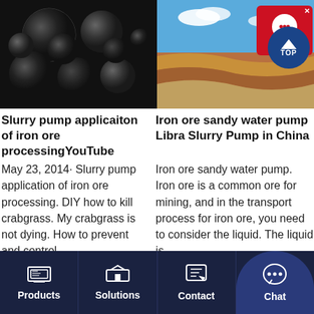[Figure (photo): Black and white photo of iron ore grinding balls/steel balls]
[Figure (photo): Open pit iron ore mine with red and brown layers under blue sky]
Slurry pump applicaiton of iron ore processingYouTube
Iron ore sandy water pump Libra Slurry Pump in China
May 23, 2014· Slurry pump application of iron ore processing. DIY how to kill crabgrass. My crabgrass is not dying. How to prevent and control
Iron ore sandy water pump. Iron ore is a common ore for mining, and in the transport process for iron ore, you need to consider the liquid. The liquid is
Products | Solutions | Contact | Chat